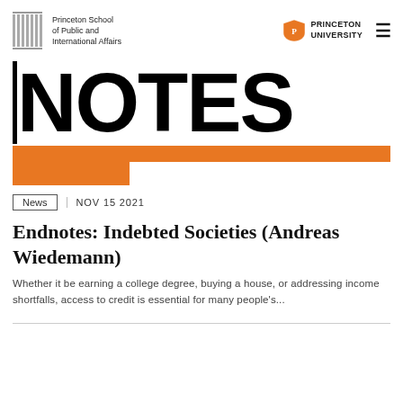Princeton School of Public and International Affairs | PRINCETON UNIVERSITY
NOTES
[Figure (illustration): Orange L-shaped graphic decoration below NOTES title]
News   NOV 15 2021
Endnotes: Indebted Societies (Andreas Wiedemann)
Whether it be earning a college degree, buying a house, or addressing income shortfalls, access to credit is essential for many people's...